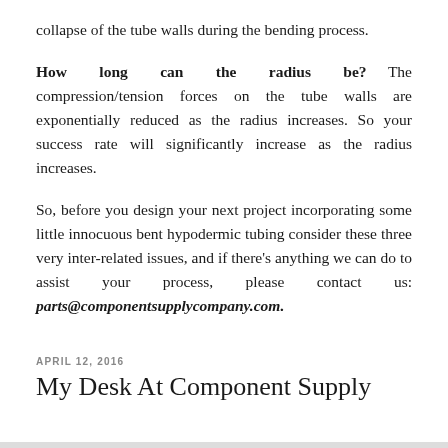collapse of the tube walls during the bending process.
How long can the radius be? The compression/tension forces on the tube walls are exponentially reduced as the radius increases. So your success rate will significantly increase as the radius increases.
So, before you design your next project incorporating some little innocuous bent hypodermic tubing consider these three very inter-related issues, and if there’s anything we can do to assist your process, please contact us: parts@componentsupplycompany.com.
APRIL 12, 2016
My Desk At Component Supply